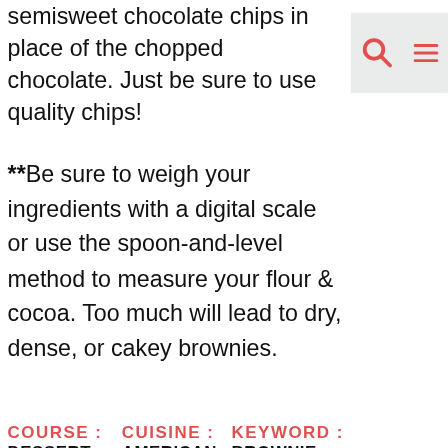semisweet chocolate chips in place of the chopped chocolate. Just be sure to use quality chips!
**Be sure to weigh your ingredients with a digital scale or use the spoon-and-level method to measure your flour & cocoa. Too much will lead to dry, dense, or cakey brownies.
COURSE : DESSERT | CUISINE : AMERICAN | KEYWORD : BROWNIE RECIPE, EASY BROWNIE RECIPE, EASY BROWNIES
[Figure (screenshot): Red banner advertisement area with a close button]
[Figure (screenshot): Ad banner: BitLife - Life Simulator with Install button]